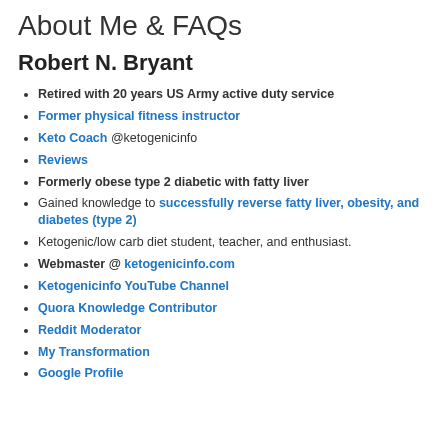About Me & FAQs
Robert N. Bryant
Retired with 20 years US Army active duty service
Former physical fitness instructor
Keto Coach @ketogenicinfo
Reviews
Formerly obese type 2 diabetic with fatty liver
Gained knowledge to successfully reverse fatty liver, obesity, and diabetes (type 2)
Ketogenic/low carb diet student, teacher, and enthusiast.
Webmaster @ ketogenicinfo.com
Ketogenicinfo YouTube Channel
Quora Knowledge Contributor
Reddit Moderator
My Transformation
Google Profile